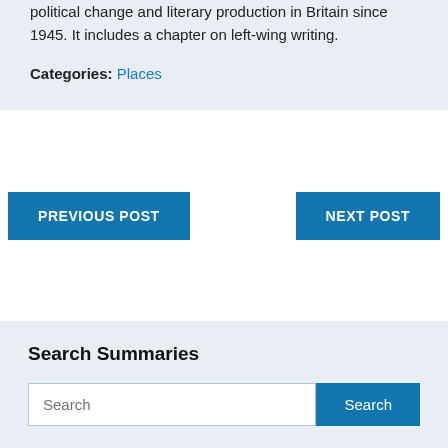political change and literary production in Britain since 1945. It includes a chapter on left-wing writing.
Categories: Places
PREVIOUS POST
NEXT POST
Search Summaries
Search